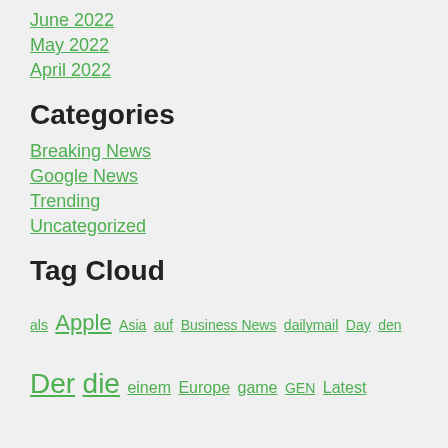June 2022
May 2022
April 2022
Categories
Breaking News
Google News
Trending
Uncategorized
Tag Cloud
als Apple Asia auf Business News dailymail Day den Der die einem Europe game GEN Latest Live mit NBA news News 1 police Policy Pro Russia shooting sich sie Telecom Tiger time tyshowbiz tägliche Post